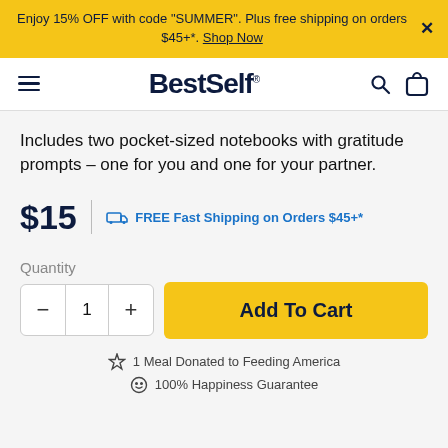Enjoy 15% OFF with code "SUMMER". Plus free shipping on orders $45+*. Shop Now
[Figure (logo): BestSelf logo in bold dark navy font with registered trademark symbol, flanked by hamburger menu, search icon, and cart icon]
Includes two pocket-sized notebooks with gratitude prompts – one for you and one for your partner.
$15 | FREE Fast Shipping on Orders $45+*
Quantity
Add To Cart
1 Meal Donated to Feeding America
100% Happiness Guarantee